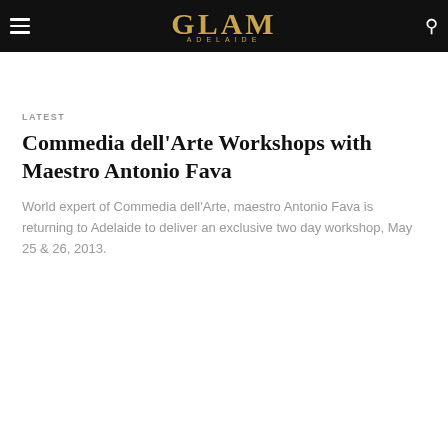GLAM ADELAIDE
LATEST
Commedia dell'Arte Workshops with Maestro Antonio Fava
World expert of Commedia dell'Arte, maestro Antonio Fava is returning to Adelaide to deliver an exclusive two day workshop, May 25 & 26, 2013.